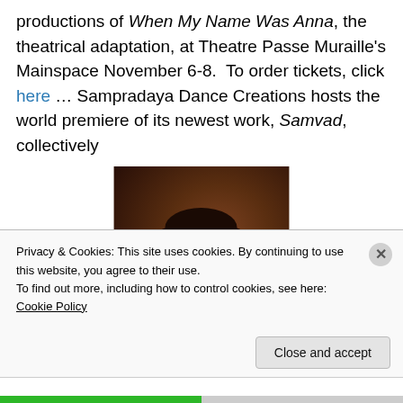productions of When My Name Was Anna, the theatrical adaptation, at Theatre Passe Muraille's Mainspace November 6-8. To order tickets, click here … Sampradaya Dance Creations hosts the world premiere of its newest work, Samvad, collectively
[Figure (photo): Portrait photo of a smiling man with dark hair and mustache wearing a red jacket, against a dark reddish-brown background]
Privacy & Cookies: This site uses cookies. By continuing to use this website, you agree to their use.
To find out more, including how to control cookies, see here: Cookie Policy
Close and accept